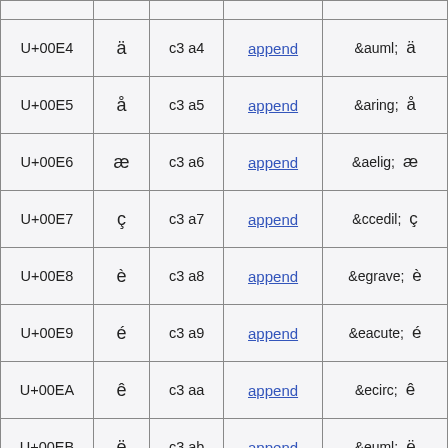| Unicode | Char | UTF-8 | Append | HTML |
| --- | --- | --- | --- | --- |
| U+00E4 | ä | c3 a4 | append | &auml;  ä |
| U+00E5 | å | c3 a5 | append | &aring;  å |
| U+00E6 | æ | c3 a6 | append | &aelig;  æ |
| U+00E7 | ç | c3 a7 | append | &ccedil;  ç |
| U+00E8 | è | c3 a8 | append | &egrave;  è |
| U+00E9 | é | c3 a9 | append | &eacute;  é |
| U+00EA | ê | c3 aa | append | &ecirc;  ê |
| U+00EB | ë | c3 ab | append | &euml;  ë |